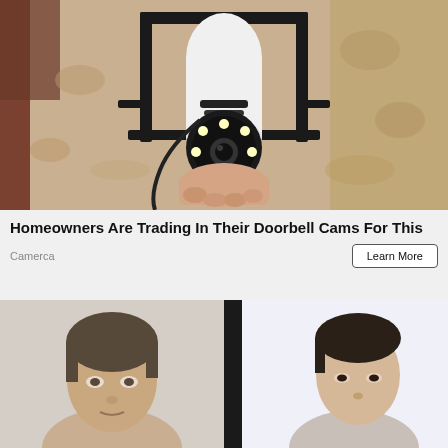[Figure (photo): A hand installing or holding a white security camera bulb device inside a black metal outdoor wall lantern fixture, with textured stucco/stone wall in background]
Homeowners Are Trading In Their Doorbell Cams For This
Camerca
[Figure (photo): Two side-by-side photos of men, partially cropped at bottom of page]